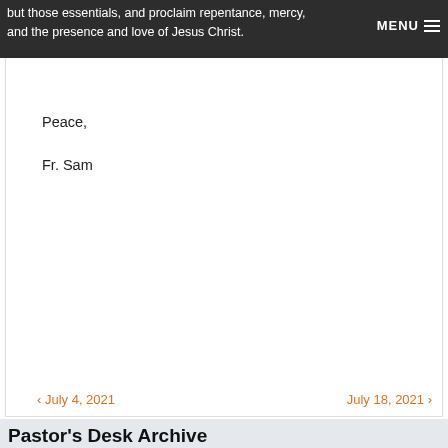but those essentials, and proclaim repentance, mercy, and the presence and love of Jesus Christ.
Peace,
Fr. Sam
‹ July 4, 2021    July 18, 2021 ›
Pastor's Desk Archive
August 2022 (3)
July 2022 (4)
June 2022 (5)
May 2022 (4)
April 2022 (4)
March 2022 (5)
February 2022 (4)
January 2022 (4)
December 2021 (5)